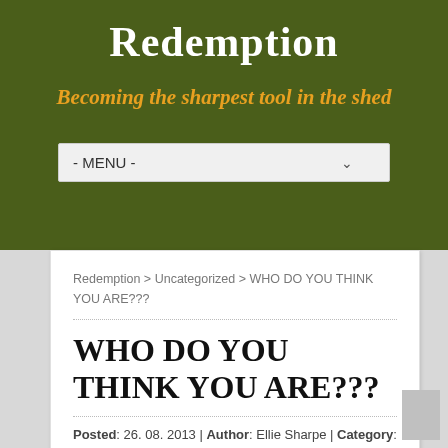Redemption
Becoming the sharpest tool in the shed
- MENU -
Redemption > Uncategorized > WHO DO YOU THINK YOU ARE???
WHO DO YOU THINK YOU ARE???
Posted: 26. 08. 2013 | Author: Ellie Sharpe | Category: